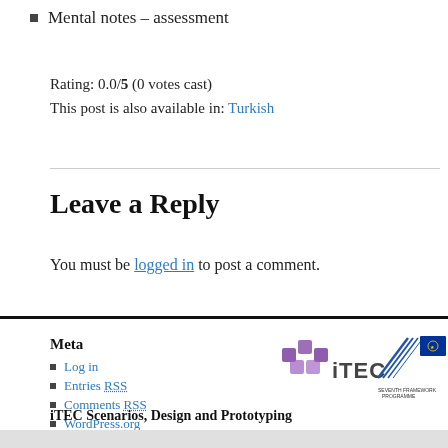Mental notes – assessment
Rating: 0.0/5 (0 votes cast)
This post is also available in: Turkish
Leave a Reply
You must be logged in to post a comment.
Meta
Log in
Entries RSS
Comments RSS
WordPress.org
[Figure (logo): iTEC Seventh Framework Programme logo and EU flag logo]
iTEC Scenarios, Design and Prototyping